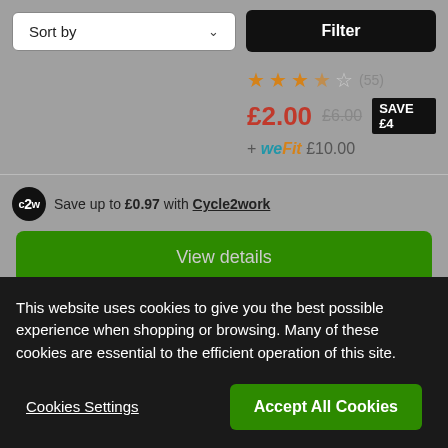[Figure (screenshot): Sort by dropdown and Filter button at top of product listing page]
[Figure (screenshot): Product rating 3.5 stars (55 reviews), price £2.00, was £6.00, SAVE £4, plus we Fit £10.00]
Save up to £0.97 with Cycle2work
View details
This website uses cookies to give you the best possible experience when shopping or browsing. Many of these cookies are essential to the efficient operation of this site.
Cookies Settings
Accept All Cookies